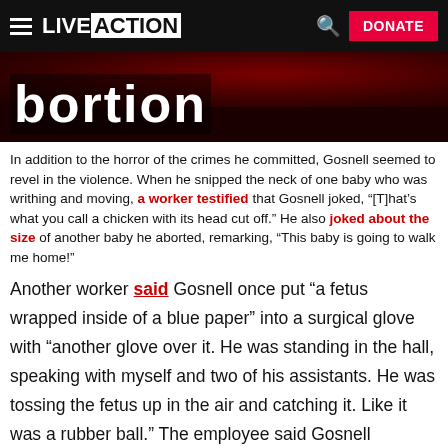LIVE ACTION | DONATE
[Figure (photo): Dark red background image with white bold text reading 'bortion' visible at the bottom]
In addition to the horror of the crimes he committed, Gosnell seemed to revel in the violence. When he snipped the neck of one baby who was writhing and moving, a worker testified that Gosnell joked, “[T]hat’s what you call a chicken with its head cut off.” He also joked about the size of another baby he aborted, remarking, “This baby is going to walk me home!”
Another worker said Gosnell once put “a fetus wrapped inside of a blue paper” into a surgical glove with “another glove over it. He was standing in the hall, speaking with myself and two of his assistants. He was tossing the fetus up in the air and catching it. Like it was a rubber ball.” The employee said Gosnell “laughed” and said, ‘Nobody knows what this is.’”